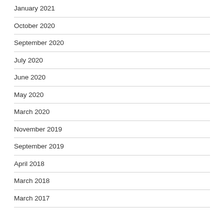January 2021
October 2020
September 2020
July 2020
June 2020
May 2020
March 2020
November 2019
September 2019
April 2018
March 2018
March 2017